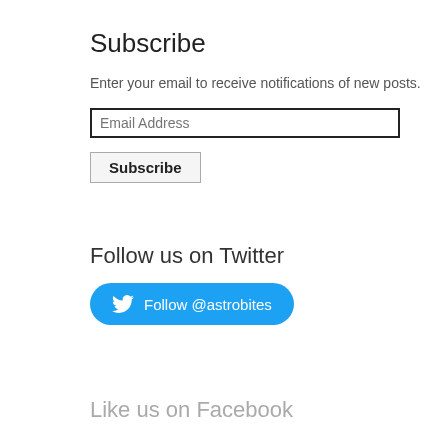Subscribe
Enter your email to receive notifications of new posts.
Email Address
Subscribe
Follow us on Twitter
Follow @astrobites
Like us on Facebook
More Posts About
AGN
simulations
stars
transits